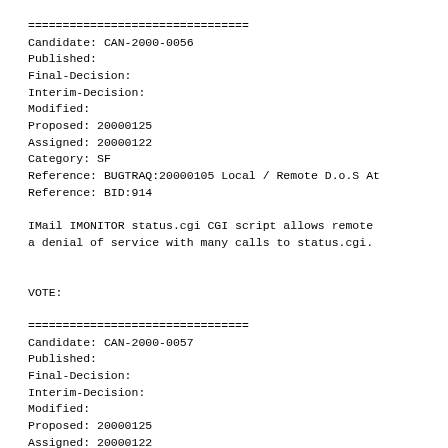================================
Candidate: CAN-2000-0056
Published:
Final-Decision:
Interim-Decision:
Modified:
Proposed: 20000125
Assigned: 20000122
Category: SF
Reference: BUGTRAQ:20000105 Local / Remote D.o.S At
Reference: BID:914

IMail IMONITOR status.cgi CGI script allows remote
a denial of service with many calls to status.cgi.


VOTE:
================================
Candidate: CAN-2000-0057
Published:
Final-Decision:
Interim-Decision:
Modified:
Proposed: 20000125
Assigned: 20000122
Category: SF
Reference: BID:917
Reference: ALLAIRE:ASB00-03